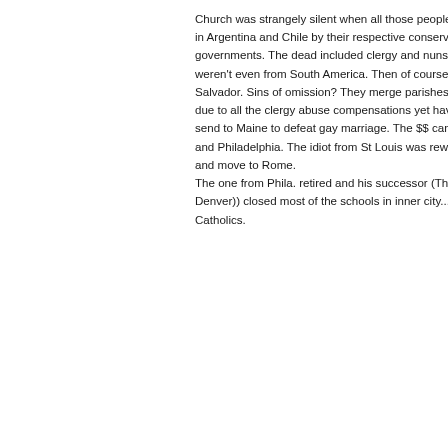Church was strangely silent when all those people were murdered in Argentina and Chile by their respective conservative governments. The dead included clergy and nuns, some who weren't even from South America. Then of course there is El Salvador. Sins of omission? They merge parishes, and cry poverty due to all the clergy abuse compensations yet have $35 or 40K to send to Maine to defeat gay marriage. The $$ came from St Louis and Philadelphia. The idiot from St Louis was rewarded by a red hat and move to Rome.
The one from Phila. retired and his successor (The Bright Light from Denver)) closed most of the schools in inner city....no $$ and fewer Catholics.